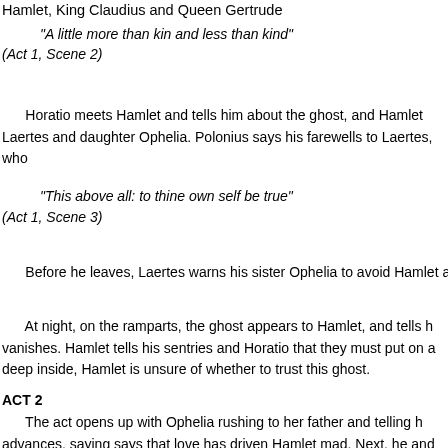Hamlet, King Claudius and Queen Gertrude
“A little more than kin and less than kind”
(Act 1, Scene 2)
Horatio meets Hamlet and tells him about the ghost, and Hamlet Laertes and daughter Ophelia. Polonius says his farewells to Laertes, who
“This above all: to thine own self be true”
(Act 1, Scene 3)
Before he leaves, Laertes warns his sister Ophelia to avoid Hamlet a
At night, on the ramparts, the ghost appears to Hamlet, and tells h vanishes. Hamlet tells his sentries and Horatio that they must put on a deep inside, Hamlet is unsure of whether to trust this ghost.
ACT 2
The act opens up with Ophelia rushing to her father and telling h advances, saying says that love has driven Hamlet mad. Next, he and go